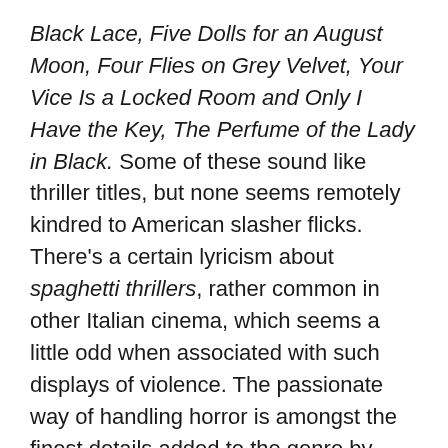Black Lace, Five Dolls for an August Moon, Four Flies on Grey Velvet, Your Vice Is a Locked Room and Only I Have the Key, The Perfume of the Lady in Black. Some of these sound like thriller titles, but none seems remotely kindred to American slasher flicks. There's a certain lyricism about spaghetti thrillers, rather common in other Italian cinema, which seems a little odd when associated with such displays of violence. The passionate way of handling horror is amongst the finest details added to the genre by European filmmakers.

And since the clichés are what makes the giallo movie, let's expand on that a bit. The first true gialli were produced in the late 1960s and early 1970s, a time of social turmoil and change. Sexual liberation was still associated with feminism at the time, and the eroticization